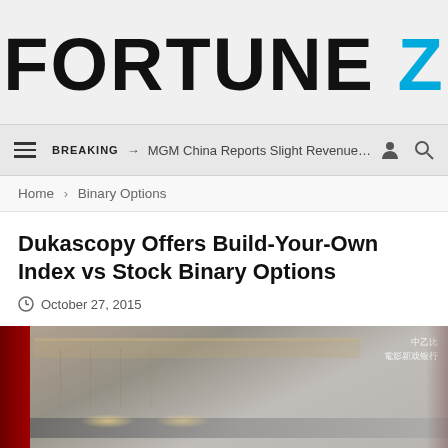FORTUNE Z
☰  BREAKING → MGM China Reports Slight Revenue Incre... 👤 🔍
Home > Binary Options
Dukascopy Offers Build-Your-Own Index vs Stock Binary Options
October 27, 2015
[Figure (photo): Interior trade show or financial company office building photo with red columns, ceiling lights, and Chinese text visible on the right side]